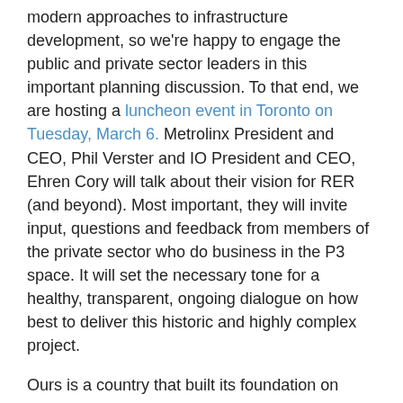modern approaches to infrastructure development, so we're happy to engage the public and private sector leaders in this important planning discussion. To that end, we are hosting a luncheon event in Toronto on Tuesday, March 6. Metrolinx President and CEO, Phil Verster and IO President and CEO, Ehren Cory will talk about their vision for RER (and beyond). Most important, they will invite input, questions and feedback from members of the private sector who do business in the P3 space. It will set the necessary tone for a healthy, transparent, ongoing dialogue on how best to deliver this historic and highly complex project.
Ours is a country that built its foundation on infrastructure. Our future is no different. Today, the vitality of our communities and commerce still rely on rail connections. The transcontinental steam engines, however, have evolved into light rail and rapid transit commuter services that knit the rural to the urban, the suburbs to our business districts.